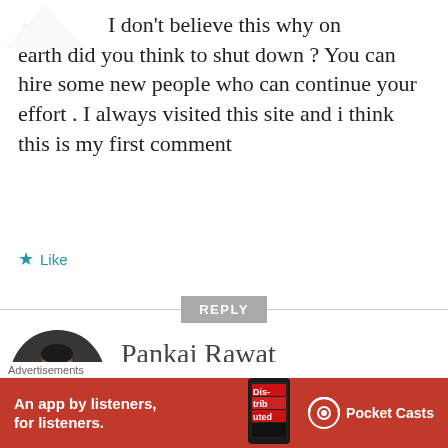I don't believe this why on earth did you think to shut down ? You can hire some new people who can continue your effort . I always visited this site and i think this is my first comment
★ Like
REPLY
Pankaj Rawat
JUNE 17, 2015 AT 7:03 PM
Advertisements
[Figure (infographic): Red Pocket Casts advertisement banner reading 'An app by listeners, for listeners.' with app book image and Pocket Casts logo]